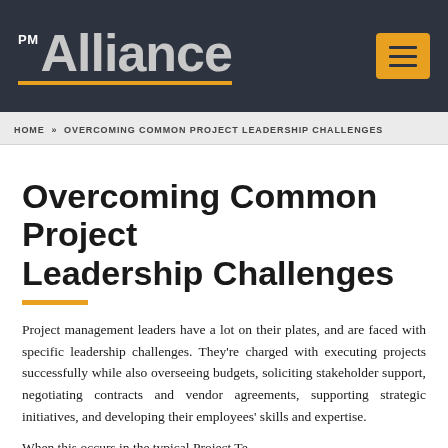PM Alliance — navigation header with logo and menu button
HOME » OVERCOMING COMMON PROJECT LEADERSHIP CHALLENGES
Overcoming Common Project Leadership Challenges
Project management leaders have a lot on their plates, and are faced with specific leadership challenges. They're charged with executing projects successfully while also overseeing budgets, soliciting stakeholder support, negotiating contracts and vendor agreements, supporting strategic initiatives, and developing their employees' skills and expertise.
When this occurs in the typical Project Te...